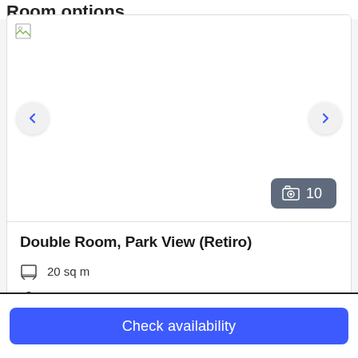Room options
[Figure (photo): Hotel room image carousel with broken image placeholder, left and right navigation arrows, and a photo count badge showing 10 photos]
Double Room, Park View (Retiro)
20 sq m
Park view
Sleeps 2
Check availability